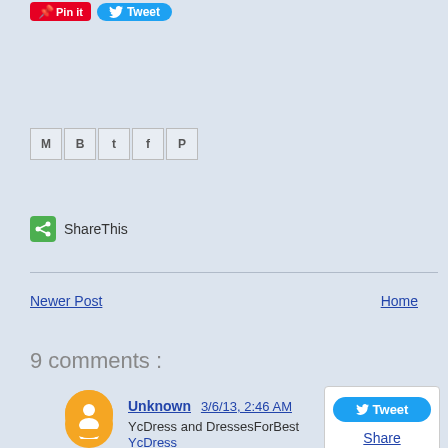[Figure (screenshot): Pinterest Pin it button and Twitter Tweet button at top]
[Figure (screenshot): Row of social media share icons: Gmail, Blogger, Twitter, Facebook, Pinterest]
ShareThis
Newer Post
Home
9 comments :
Unknown 3/6/13, 2:46 AM
YcDress and DressesForBest YcDress DressesForBest
Reply
[Figure (screenshot): Twitter Tweet widget box with Tweet button and Share link and [Get This]]
abfantom 3/7/13, 11:57 AM
Samantha is my favorite witch
abfantom at yahoo dot com